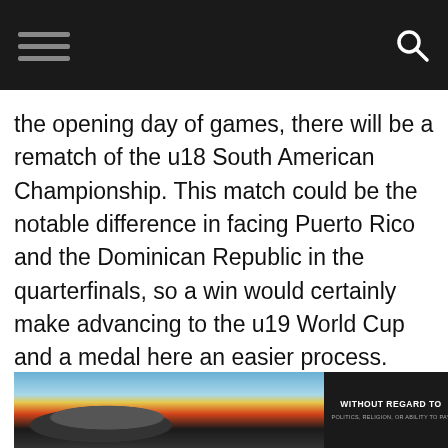the opening day of games, there will be a rematch of the u18 South American Championship. This match could be the notable difference in facing Puerto Rico and the Dominican Republic in the quarterfinals, so a win would certainly make advancing to the u19 World Cup and a medal here an easier process.
[Figure (photo): Advertisement banner showing cargo being loaded onto an aircraft with colorful livery, alongside a dark panel with bold text reading WITHOUT REGARD TO POLITICS, RELIGION, OR ABILITY TO PAY]